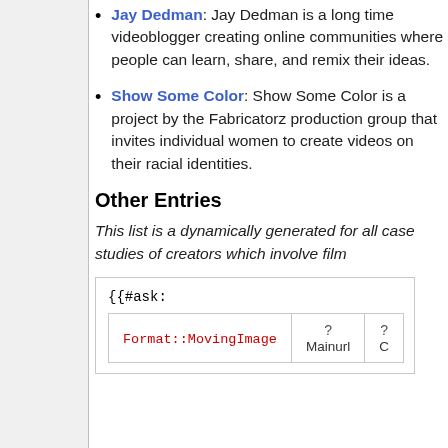Jay Dedman: Jay Dedman is a long time videoblogger creating online communities where people can learn, share, and remix their ideas.
Show Some Color: Show Some Color is a project by the Fabricatorz production group that invites individual women to create videos on their racial identities.
Other Entries
This list is a dynamically generated for all case studies of creators which involve film
{{#ask:
Format::MovingImage
Mainurl C